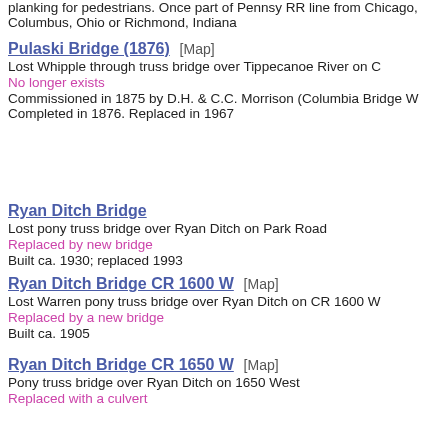planking for pedestrians. Once part of Pennsy RR line from Chicago, Columbus, Ohio or Richmond, Indiana
Pulaski Bridge (1876)  [Map]
Lost Whipple through truss bridge over Tippecanoe River on C
No longer exists
Commissioned in 1875 by D.H. & C.C. Morrison (Columbia Bridge W Completed in 1876. Replaced in 1967
Ryan Ditch Bridge
Lost pony truss bridge over Ryan Ditch on Park Road
Replaced by new bridge
Built ca. 1930; replaced 1993
Ryan Ditch Bridge CR 1600 W  [Map]
Lost Warren pony truss bridge over Ryan Ditch on CR 1600 W
Replaced by a new bridge
Built ca. 1905
Ryan Ditch Bridge CR 1650 W  [Map]
Pony truss bridge over Ryan Ditch on 1650 West
Replaced with a culvert